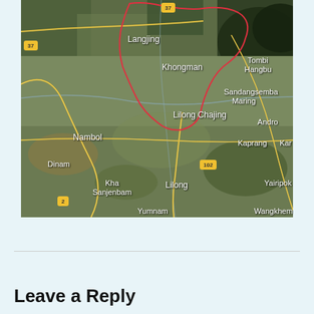[Figure (map): Satellite map showing Khongman area in Manipur, India. Shows places: Langjing, Khongman, Lilong Chajing, Nambol, Dinam, Kha Sanjenbam, Lilong, Yumnam (partial), Tombi Hangbu, Sandangsemba Maring, Andro, Kaprang, Kar (partial), Yairipok (partial), Wangkhem (partial). Road numbers 37, 2, 102 visible. Red boundary line outlines Khongman region.]
Leave a Reply